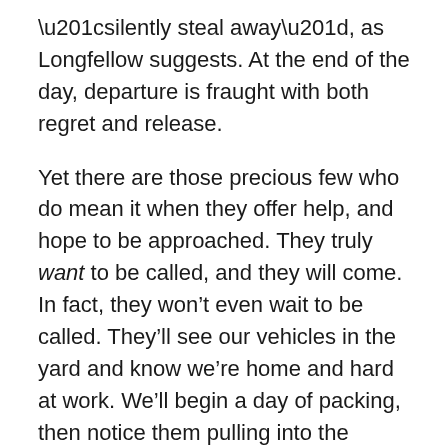“silently steal away”, as Longfellow suggests. At the end of the day, departure is fraught with both regret and release.
Yet there are those precious few who do mean it when they offer help, and hope to be approached. They truly want to be called, and they will come. In fact, they won’t even wait to be called. They’ll see our vehicles in the yard and know we’re home and hard at work. We’ll begin a day of packing, then notice them pulling into the driveway. “What would like us to do?” they’ll ask, then do it. Our relief and gratitude might well extend to hugs and tears. For the truly stiff-necked among us, who simply cannot seek assistance, this intervention comes as an immense and therapeutic boon to body and soul.
Often, these impromptu sidekicks reap some of the goodness they’re sowing, because they might well leave